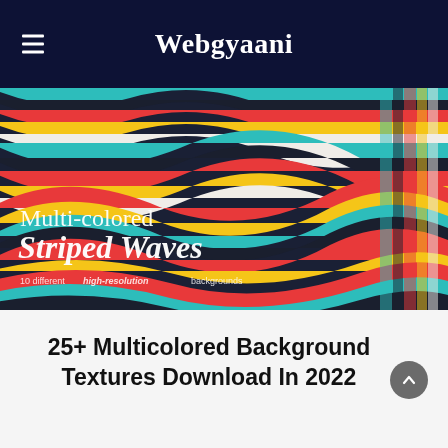Webgyaani
[Figure (illustration): Multi-colored striped wavy fabric texture image with text overlay reading 'Multi-colored Striped Waves' and subtitle '10 different high-resolution backgrounds']
25+ Multicolored Background Textures Download In 2022